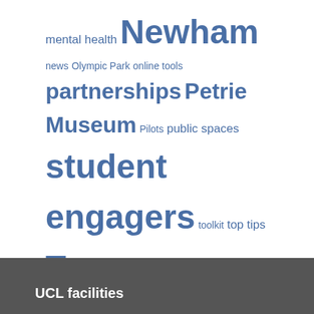mental health Newham news Olympic Park online tools partnerships Petrie Museum Pilots public spaces student engagers toolkit top tips Tower Hamlets Waltham Forest
ex: someone@mydomain.com
This form is protected by reCAPTCHA and the Google Privacy Policy and Terms of Service apply.
Subscribe
UCL facilities